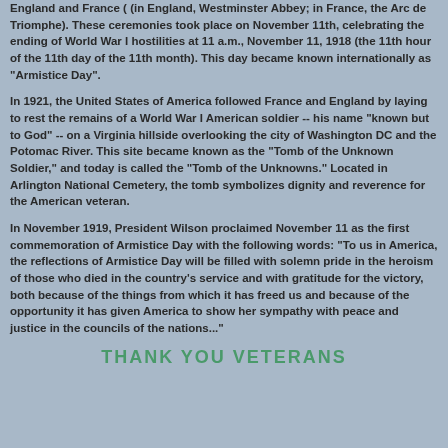England and France ( (in England, Westminster Abbey; in France, the Arc de Triomphe). These ceremonies took place on November 11th, celebrating the ending of World War I hostilities at 11 a.m., November 11, 1918 (the 11th hour of the 11th day of the 11th month). This day became known internationally as "Armistice Day".
In 1921, the United States of America followed France and England by laying to rest the remains of a World War I American soldier -- his name "known but to God" -- on a Virginia hillside overlooking the city of Washington DC and the Potomac River. This site became known as the "Tomb of the Unknown Soldier," and today is called the "Tomb of the Unknowns." Located in Arlington National Cemetery, the tomb symbolizes dignity and reverence for the American veteran.
In November 1919, President Wilson proclaimed November 11 as the first commemoration of Armistice Day with the following words: "To us in America, the reflections of Armistice Day will be filled with solemn pride in the heroism of those who died in the country's service and with gratitude for the victory, both because of the things from which it has freed us and because of the opportunity it has given America to show her sympathy with peace and justice in the councils of the nations..."
THANK YOU VETERANS